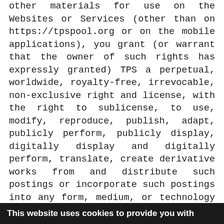other materials for use on the Websites or Services (other than on https://tpspool.org or on the mobile applications), you grant (or warrant that the owner of such rights has expressly granted) TPS a perpetual, worldwide, royalty-free, irrevocable, non-exclusive right and license, with the right to sublicense, to use, modify, reproduce, publish, adapt, publicly perform, publicly display, digitally display and digitally perform, translate, create derivative works from and distribute such postings or incorporate such postings into any form, medium, or technology now known or later developed. You agree that you shall have no recourse against TPS for any alleged or actual infringement or misappropriation of any proprietary right in postings you provide to TPS.
This website uses cookies to provide you with